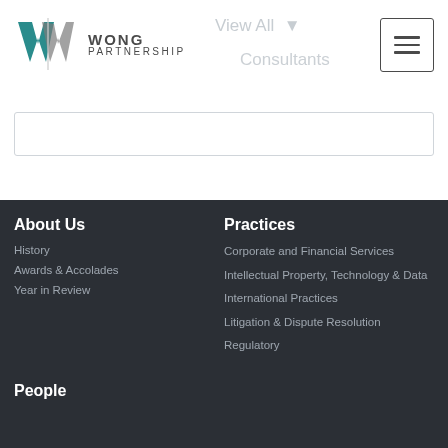[Figure (logo): Wong Partnership logo with teal/grey W mark and firm name]
View All ▾
Consultants
About Us
History
Awards & Accolades
Year in Review
Practices
Corporate and Financial Services
Intellectual Property, Technology & Data
International Practices
Litigation & Dispute Resolution
Regulatory
People